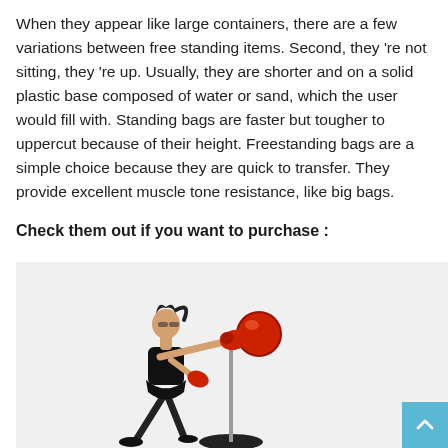When they appear like large containers, there are a few variations between free standing items. Second, they 're not sitting, they 're up. Usually, they are shorter and on a solid plastic base composed of water or sand, which the user would fill with. Standing bags are faster but tougher to uppercut because of their height. Freestanding bags are a simple choice because they are quick to transfer. They provide excellent muscle tone resistance, like big bags.
Check them out if you want to purchase :
[Figure (photo): Woman in black athletic wear with red boxing gloves punching a freestanding punching bag on a round base, shown on a light grey background.]